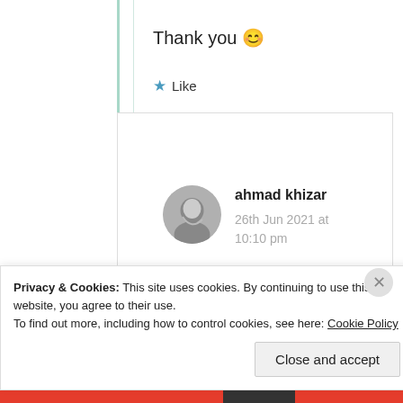Thank you 😊
★ Like
ahmad khizar
26th Jun 2021 at 10:10 pm
My pleasure. thnks for
Privacy & Cookies: This site uses cookies. By continuing to use this website, you agree to their use.
To find out more, including how to control cookies, see here: Cookie Policy
Close and accept